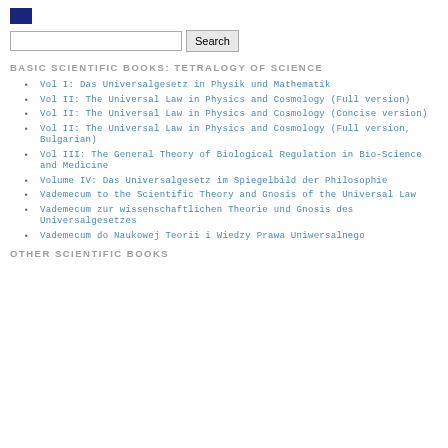BASIC SCIENTIFIC BOOKS: TETRALOGY OF SCIENCE
Vol I: Das Universalgesetz in Physik und Mathematik
Vol II: The Universal Law in Physics and Cosmology (Full version)
Vol II: The Universal Law in Physics and Cosmology (Concise version)
Vol II: The Universal Law in Physics and Cosmology (Full version, Bulgarian)
Vol III: The General Theory of Biological Regulation in Bio-Science and Medicine
Volume IV: Das Universalgesetz im Spiegelbild der Philosophie
Vademecum to the Scientific Theory and Gnosis of the Universal Law
Vademecum zur wissenschaftlichen Theorie und Gnosis des Universalgesetzes
Vademecum do Naukowej Teorii i Wiedzy Prawa Uniwersalnego
OTHER SCIENTIFIC BOOKS